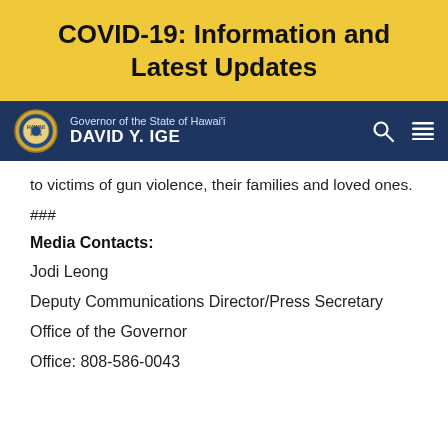COVID-19: Information and Latest Updates
Governor of the State of Hawai'i DAVID Y. IGE
to victims of gun violence, their families and loved ones.
###
Media Contacts:
Jodi Leong
Deputy Communications Director/Press Secretary
Office of the Governor
Office: 808-586-0043